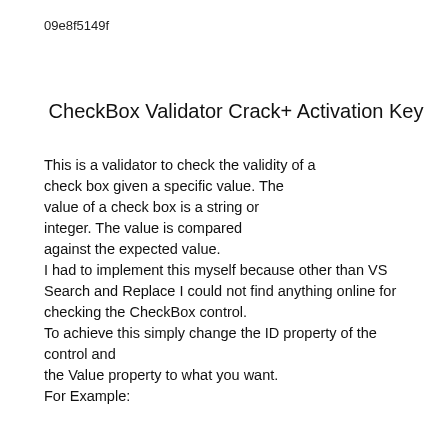09e8f5149f
CheckBox Validator Crack+ Activation Key
This is a validator to check the validity of a check box given a specific value. The value of a check box is a string or integer. The value is compared against the expected value.
I had to implement this myself because other than VS Search and Replace I could not find anything online for checking the CheckBox control.
To achieve this simply change the ID property of the control and
the Value property to what you want.
For Example: